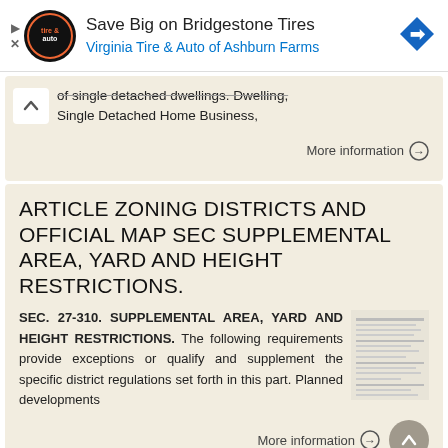[Figure (screenshot): Advertisement banner for Virginia Tire & Auto of Ashburn Farms showing Bridgestone Tires offer, with logo and navigation icon]
of single detached dwellings. Dwelling, Single Detached Home Business,
More information →
ARTICLE ZONING DISTRICTS AND OFFICIAL MAP SEC SUPPLEMENTAL AREA, YARD AND HEIGHT RESTRICTIONS.
SEC. 27-310. SUPPLEMENTAL AREA, YARD AND HEIGHT RESTRICTIONS. The following requirements provide exceptions or qualify and supplement the specific district regulations set forth in this part. Planned developments
More information →